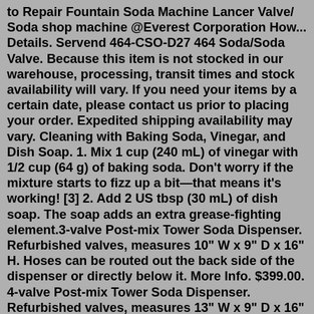to Repair Fountain Soda Machine Lancer Valve/ Soda shop machine @Everest Corporation How... Details. Servend 464-CSO-D27 464 Soda/Soda Valve. Because this item is not stocked in our warehouse, processing, transit times and stock availability will vary. If you need your items by a certain date, please contact us prior to placing your order. Expedited shipping availability may vary. Cleaning with Baking Soda, Vinegar, and Dish Soap. 1. Mix 1 cup (240 mL) of vinegar with 1/2 cup (64 g) of baking soda. Don't worry if the mixture starts to fizz up a bit—that means it's working! [3] 2. Add 2 US tbsp (30 mL) of dish soap. The soap adds an extra grease-fighting element.3-valve Post-mix Tower Soda Dispenser. Refurbished valves, measures 10" W x 9" D x 16" H. Hoses can be routed out the back side of the dispenser or directly below it. More Info. $399.00. 4-valve Post-mix Tower Soda Dispenser. Refurbished valves, measures 13" W x 9" D x 16" H. Hoses can be routed out the back side of the dispenser or directly ... 3/4" of the width at minimum, measures 16 front of ...